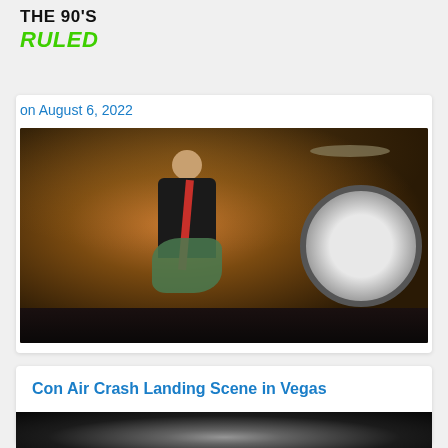[Figure (logo): The 90's Ruled logo — black bold text 'THE 90'S' above italic green bold text 'RULED']
on August 6, 2022
[Figure (photo): Concert photo of a guitarist/vocalist performing on stage, wearing black shirt with red guitar strap, playing guitar into a microphone. Drum kit visible in background right. Warm stage lighting.]
Con Air Crash Landing Scene in Vegas
[Figure (photo): Partial view of a movie or video scene, dark image with a spotlight/light source visible.]